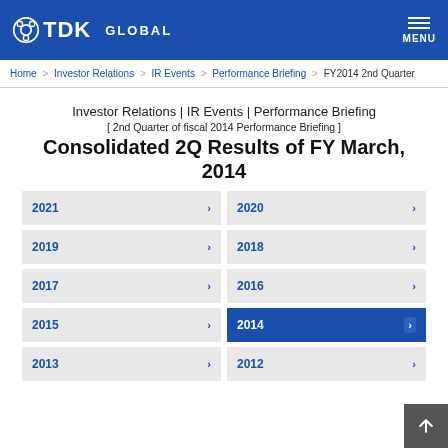TDK GLOBAL | MENU
Home > Investor Relations > IR Events > Performance Briefing > FY2014 2nd Quarter
Investor Relations | IR Events | Performance Briefing
[ 2nd Quarter of fiscal 2014 Performance Briefing ]
Consolidated 2Q Results of FY March, 2014
2021
2020
2019
2018
2017
2016
2015
2014
2013
2012